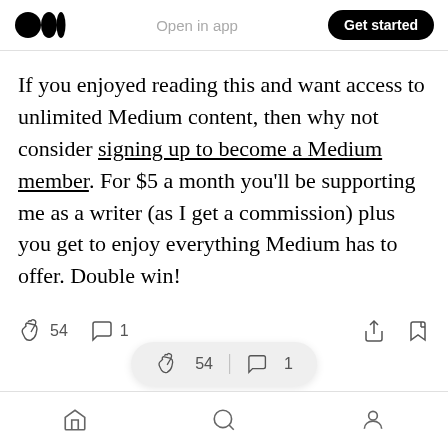Open in app | Get started
If you enjoyed reading this and want access to unlimited Medium content, then why not consider signing up to become a Medium member. For $5 a month you'll be supporting me as a writer (as I get a commission) plus you get to enjoy everything Medium has to offer. Double win!
54  1
54 | 1